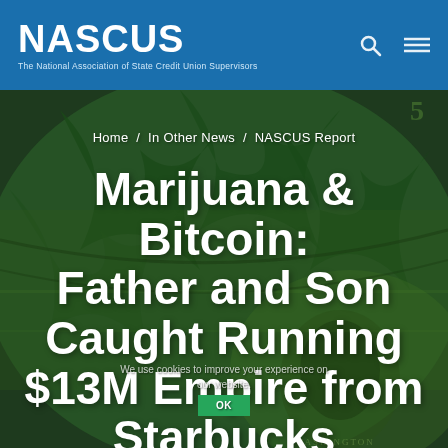NASCUS — The National Association of State Credit Union Supervisors
Home / In Other News / NASCUS Report
Marijuana & Bitcoin: Father and Son Caught Running $13M Empire from Starbucks
We use cookies to improve your experience on our website.
Ok